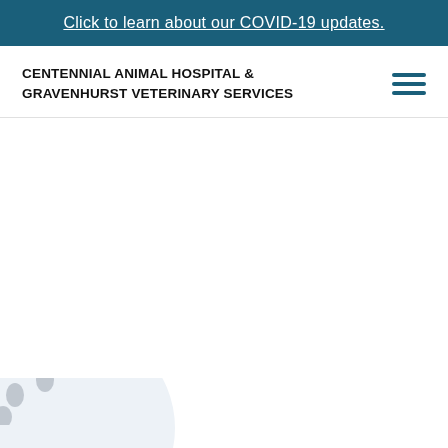Click to learn about our COVID-19 updates.
CENTENNIAL ANIMAL HOSPITAL & GRAVENHURST VETERINARY SERVICES
[Figure (illustration): Hamburger menu icon with three horizontal dark teal lines]
[Figure (illustration): Light blue-grey circle with grey paw print icons in the lower-left corner of the page]
From Our Blog